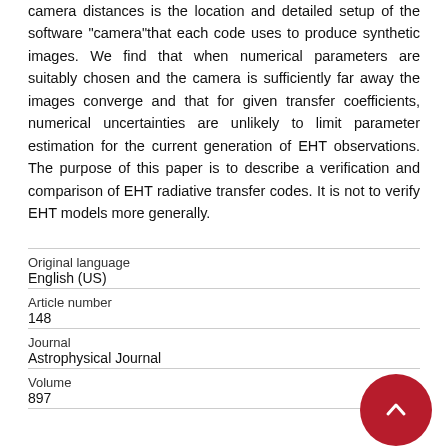camera distances is the location and detailed setup of the software "camera"that each code uses to produce synthetic images. We find that when numerical parameters are suitably chosen and the camera is sufficiently far away the images converge and that for given transfer coefficients, numerical uncertainties are unlikely to limit parameter estimation for the current generation of EHT observations. The purpose of this paper is to describe a verification and comparison of EHT radiative transfer codes. It is not to verify EHT models more generally.
| Original language | English (US) |
| Article number | 148 |
| Journal | Astrophysical Journal |
| Volume | 897 |